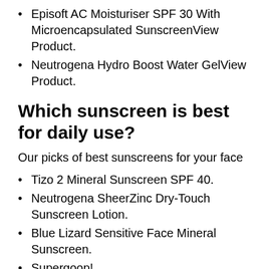Episoft AC Moisturiser SPF 30 With Microencapsulated SunscreenView Product.
Neutrogena Hydro Boost Water GelView Product.
Which sunscreen is best for daily use?
Our picks of best sunscreens for your face
Tizo 2 Mineral Sunscreen SPF 40.
Neutrogena SheerZinc Dry-Touch Sunscreen Lotion.
Blue Lizard Sensitive Face Mineral Sunscreen.
Supergoop! ...
Raw Elements Face + Body SPF 30